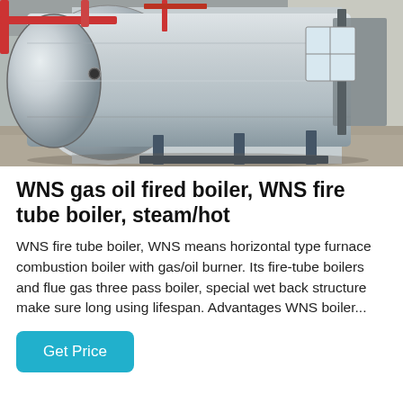[Figure (photo): Industrial boiler room showing a large horizontal cylindrical WNS fire tube boiler with silver insulation cladding, pipes, red piping overhead, and structural supports on a factory floor]
WNS gas oil fired boiler, WNS fire tube boiler, steam/hot
WNS fire tube boiler, WNS means horizontal type furnace combustion boiler with gas/oil burner. Its fire-tube boilers and flue gas three pass boiler, special wet back structure make sure long using lifespan. Advantages WNS boiler...